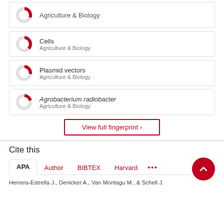[Figure (donut-chart): Partial donut chart showing percentage for Agriculture & Biology (top partial)]
Cells
Agriculture & Biology
Plasmid vectors
Agriculture & Biology
Agrobacterium radiobacter
Agriculture & Biology
View full fingerprint >
Cite this
APA  Author  BIBTEX  Harvard  ...
Herrera-Estrella J., Denicker A., Van Montagu M., & Schell J.